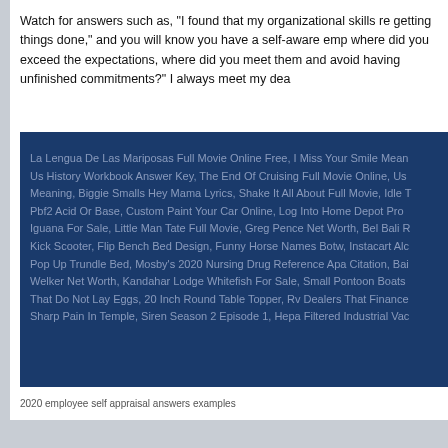Watch for answers such as, "I found that my organizational skills re getting things done," and you will know you have a self-aware emp where did you exceed the expectations, where did you meet them and avoid having unfinished commitments?" I always meet my dea
[Figure (other): Dark blue box containing a list of hyperlink-style text items: La Lengua De Las Mariposas Full Movie Online Free, I Miss Your Smile Mean Us History Workbook Answer Key, The End Of Cruising Full Movie Online, Us Meaning, Biggie Smalls Hey Mama Lyrics, Shake It All About Full Movie, Idle T Pbf2 Acid Or Base, Custom Paint Your Car Online, Log Into Home Depot Pro Iguana For Sale, Little Man Tate Full Movie, Greg Pence Net Worth, Bel Bali R Kick Scooter, Flip Bench Bed Design, Funny Horse Names Botw, Instacart Alc Pop Up Trundle Bed, Mosby's 2020 Nursing Drug Reference Apa Citation, Bai Welker Net Worth, Kandahar Lodge Whitefish For Sale, Small Pontoon Boats That Do Not Lay Eggs, 20 Inch Round Table Topper, Rv Dealers That Finance Sharp Pain In Temple, Siren Season 2 Episode 1, Hepa Filtered Industrial Vac]
2020 employee self appraisal answers examples